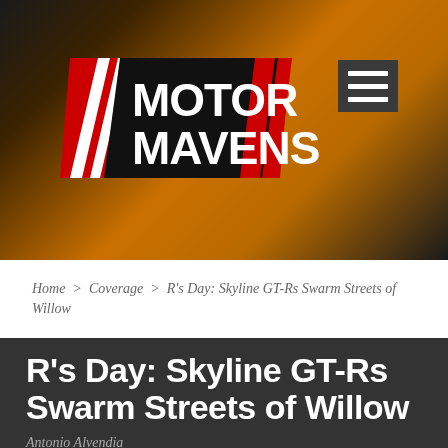[Figure (logo): Motor Mavens logo with red diagonal stripes and bold white text on dark/orange gradient background header]
Home > Coverage > R's Day: Skyline GT-Rs Swarm Streets of Willow
R's Day: Skyline GT-Rs Swarm Streets of Willow
Antonio Alvendia
Coverage